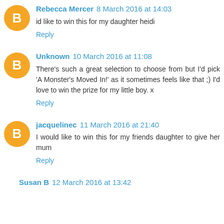Rebecca Mercer 8 March 2016 at 14:03
id like to win this for my daughter heidi
Reply
Unknown 10 March 2016 at 11:08
There's such a great selection to choose from but I'd pick 'A Monster's Moved In!' as it sometimes feels like that ;) I'd love to win the prize for my little boy. x
Reply
jacquelinec 11 March 2016 at 21:40
I would like to win this for my friends daughter to give her mum
Reply
Susan B 12 March 2016 at 13:42